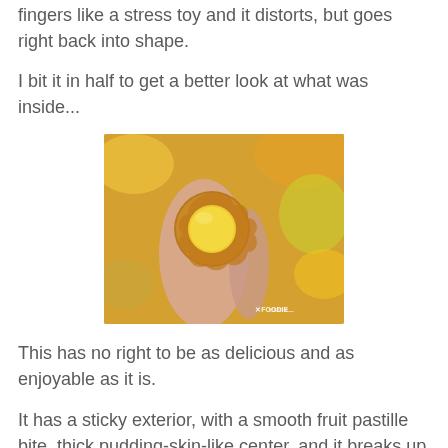fingers like a stress toy and it distorts, but goes right back into shape.
I bit it in half to get a better look at what was inside...
[Figure (photo): Close-up photo of a candy held between fingers, bitten in half revealing a yellow/golden interior center, with blurred colorful candy wrappers in the background. Watermark reads XFOODIE in bottom right corner.]
This has no right to be as delicious and as enjoyable as it is.
It has a sticky exterior, with a smooth fruit pastille bite, thick pudding-skin-like center, and it breaks up into little bits as you chew...but the flavoring is sweet, corny, buttery, and pudding like. I imagine